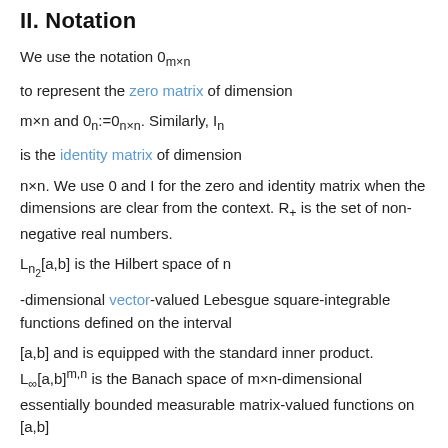II. Notation
We use the notation 0_{m×n} to represent the zero matrix of dimension m×n and 0_n:=0_{n×n}. Similarly, I_n is the identity matrix of dimension n×n. We use 0 and I for the zero and identity matrix when the dimensions are clear from the context. R+ is the set of non-negative real numbers.
L_{n2}[a,b] is the Hilbert space of n -dimensional vector-valued Lebesgue square-integrable functions defined on the interval [a,b] and is equipped with the standard inner product. L_∞[a,b]^{m,n} is the Banach space of m×n-dimensional essentially bounded measurable matrix-valued functions on [a,b]
equipped with the essential supremum singular value